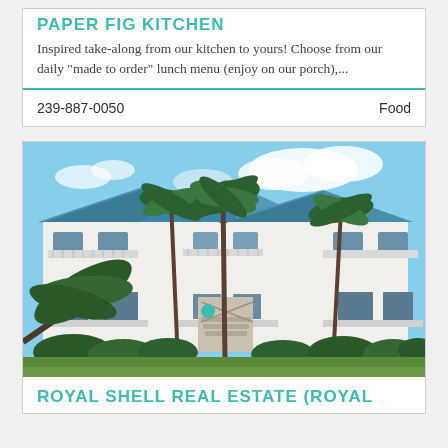PAPER FIG KITCHEN
Inspired take-along from our kitchen to yours! Choose from our daily "made to order" lunch menu (enjoy on our porch),...
239-887-0050    Food
[Figure (photo): Photo of a large white multi-story building with blue metal roof, balconies with white railings, and tall palm trees in the foreground, with green lawn at bottom.]
ROYAL SHELL REAL ESTATE (ROYAL